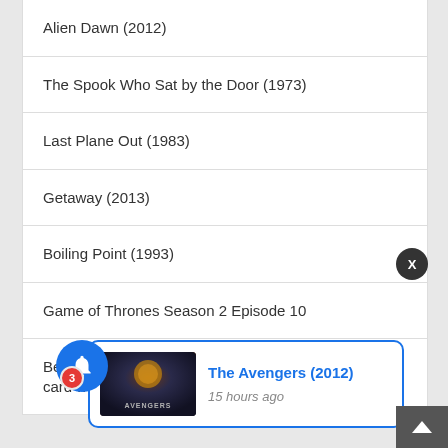Alien Dawn (2012)
The Spook Who Sat by the Door (1973)
Last Plane Out (1983)
Getaway (2013)
Boiling Point (1993)
Game of Thrones Season 2 Episode 10
Best Method on How to Unlock Sim card without PUK Code
[Figure (screenshot): Notification popup showing 'The Avengers (2012)' with movie thumbnail and '15 hours ago' timestamp, with blue border]
[Figure (infographic): Blue circular notification bell button with red badge showing '3' unread notifications]
[Figure (infographic): Dark circular close button with 'X' label]
[Figure (infographic): Dark scroll-to-top button with upward chevron arrow]